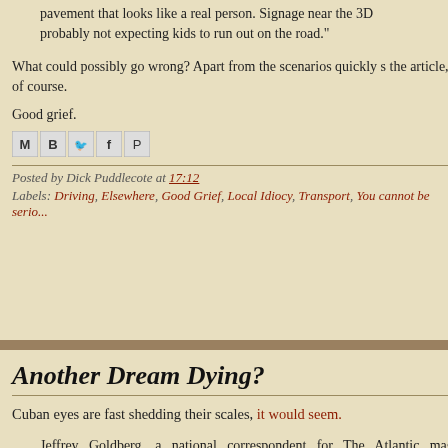pavement that looks like a real person. Signage near the 3D probably not expecting kids to run out on the road."
What could possibly go wrong? Apart from the scenarios quickly s the article, of course.
Good grief.
[Figure (other): Social sharing icons: Email (M), Blogger (B), Twitter bird, Facebook (f), Pinterest (P)]
Posted by Dick Puddlecote at 17:12
Labels: Driving, Elsewhere, Good Grief, Local Idiocy, Transport, You cannot be serio...
Another Dream Dying?
Cuban eyes are fast shedding their scales, it would seem.
Jeffrey Goldberg, a national correspondent for The Atlantic maga economic system was still worth exporting to other countrie replied: "The Cuban model doesn't even work for us anym Wednesday in a post on his Atlantic blog.